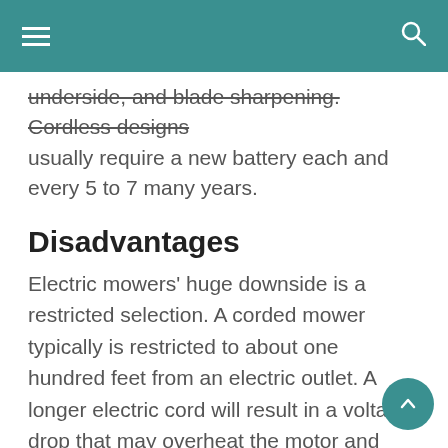underside, and blade sharpening. Cordless designs usually require a new battery each and every 5 to 7 many years.
Disadvantages
Electric mowers' huge downside is a restricted selection. A corded mower typically is restricted to about one hundred feet from an electric outlet. A longer electric cord will result in a voltage drop that may overheat the motor and perhaps burn up it out. You might require several outside shops to achieve all elements on the lawn. A cordless mower's battery normally offers about an hour of working time, which might not be adequate to finish your yard. Recharging normally requires twelve to 24 By using a corded mower, you have to be cautious to handle the cord and preserve it from the mowing path so